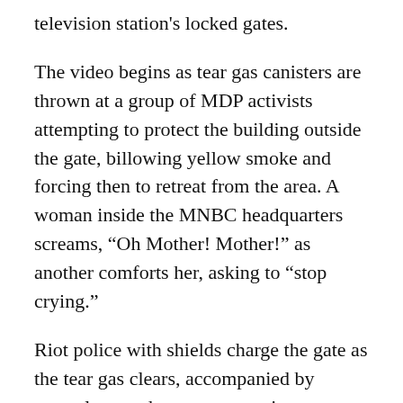television station's locked gates.
The video begins as tear gas canisters are thrown at a group of MDP activists attempting to protect the building outside the gate, billowing yellow smoke and forcing then to retreat from the area. A woman inside the MNBC headquarters screams, “Oh Mother! Mother!” as another comforts her, asking to “stop crying.”
Riot police with shields charge the gate as the tear gas clears, accompanied by several men who are not wearing uniforms. As the scene unfolds, a male voice is heard saying,  “Look there’s the police coming, they have guns”, while another man exclaims: “Oh no! That’s the bad police”.
The mob then attempts to break the heavy chain on the gates while a man inside shouts, “Oh my God,